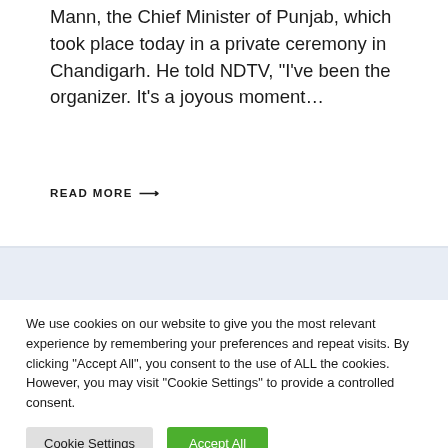Mann, the Chief Minister of Punjab, which took place today in a private ceremony in Chandigarh. He told NDTV, “I’ve been the organizer. It’s a joyous moment…
READ MORE →
We use cookies on our website to give you the most relevant experience by remembering your preferences and repeat visits. By clicking “Accept All”, you consent to the use of ALL the cookies. However, you may visit "Cookie Settings" to provide a controlled consent.
Cookie Settings | Accept All